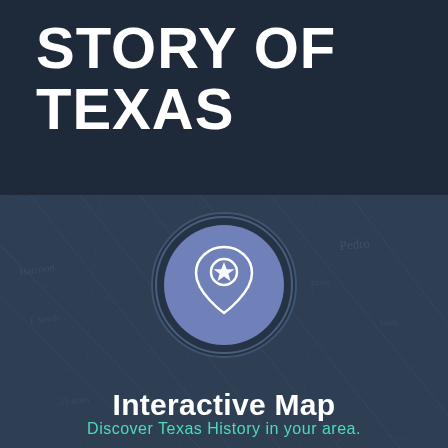STORY OF TEXAS
[Figure (illustration): Dark navy background with faint historical map overlay showing land survey lines and handwritten annotations. Centered is a circular icon with dark navy outer ring and lighter blue/periwinkle inner circle containing a map pin/location marker icon with a star inside it.]
Interactive Map
Discover Texas History in your area.